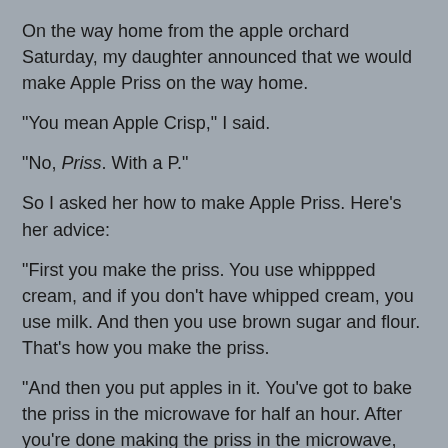On the way home from the apple orchard Saturday, my daughter announced that we would make Apple Priss on the way home.
"You mean Apple Crisp," I said.
"No, Priss. With a P."
So I asked her how to make Apple Priss. Here's her advice:
"First you make the priss. You use whippped cream, and if you don't have whipped cream, you use milk. And then you use brown sugar and flour. That's how you make the priss.
"And then you put apples in it. You've got to bake the priss in the microwave for half an hour. After you're done making the priss in the microwave, put it in the bown and put apples on top of it."
Here's how it really played out:
We ...